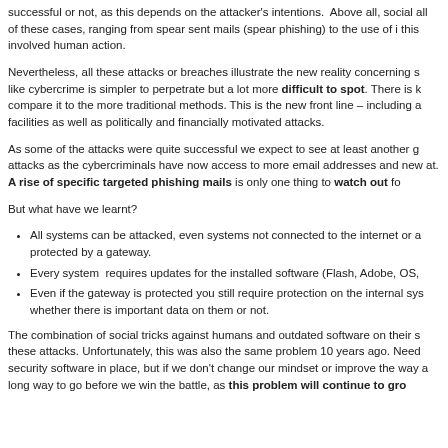successful or not, as this depends on the attacker's intentions. Above all, social all of these cases, ranging from spear sent mails (spear phishing) to the use of i this involved human action.
Nevertheless, all these attacks or breaches illustrate the new reality concerning s like cybercrime is simpler to perpetrate but a lot more difficult to spot. There is k compare it to the more traditional methods. This is the new front line – including a facilities as well as politically and financially motivated attacks.
As some of the attacks were quite successful we expect to see at least another g attacks as the cybercriminals have now access to more email addresses and new at. A rise of specific targeted phishing mails is only one thing to watch out fo
But what have we learnt?
All systems can be attacked, even systems not connected to the internet or a protected by a gateway.
Every system  requires updates for the installed software (Flash, Adobe, OS,
Even if the gateway is protected you still require protection on the internal sys whether there is important data on them or not.
The combination of social tricks against humans and outdated software on their s these attacks. Unfortunately, this was also the same problem 10 years ago. Need security software in place, but if we don't change our mindset or improve the way a long way to go before we win the battle, as this problem will continue to gro